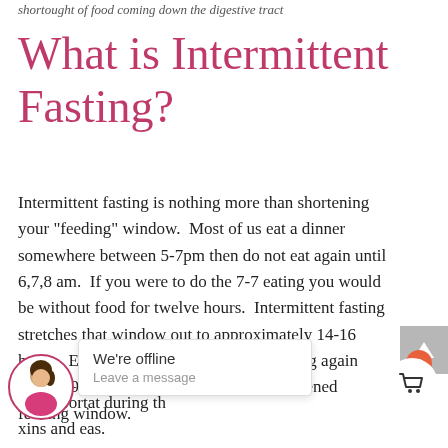shortought of food coming down the digestive tract
What is Intermittent Fasting?
Intermittent fasting is nothing more than shortening your “feeding” window.  Most of us eat a dinner somewhere between 5-7pm then do not eat again until 6,7,8 am.  If you were to do the 7-7 eating you would be without food for twelve hours.  Intermittent fasting stretches that window out to approximately 14-16 hours.  Eating dinner at 6pm then not eating again until 8, 9 or 10am is an example of a shortened feeding window.
It’s import[ant that the food you] eat during th[e …] [… to]xins and eas[ily] digest.  Th[is would be] organic fruits, vegetables and